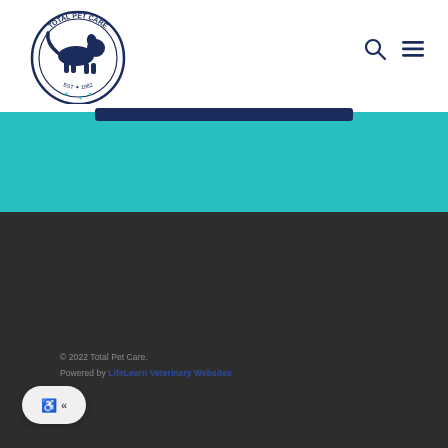[Figure (logo): Total Pet Care circular logo with silhouette of dog and cat, navy blue text around border reading TOTAL PET CARE EST. 1982]
[Figure (illustration): Search icon (magnifying glass) and hamburger menu icon in navy blue, top right navigation]
[Figure (illustration): Teal/turquoise colored band section with a dark navy blue pill-shaped button bar at the top]
© 2022 Total Pet Care.
Powered by LifeLearn Veterinary Websites